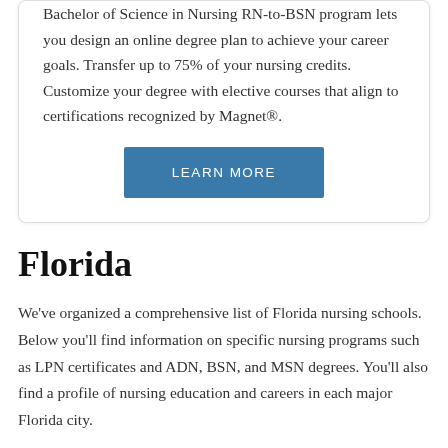Bachelor of Science in Nursing RN-to-BSN program lets you design an online degree plan to achieve your career goals. Transfer up to 75% of your nursing credits. Customize your degree with elective courses that align to certifications recognized by Magnet®.
LEARN MORE
Florida
We've organized a comprehensive list of Florida nursing schools. Below you'll find information on specific nursing programs such as LPN certificates and ADN, BSN, and MSN degrees. You'll also find a profile of nursing education and careers in each major Florida city.